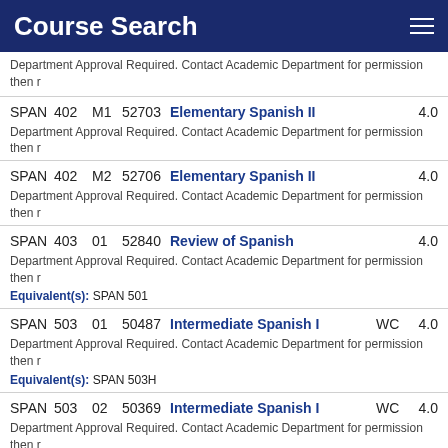Course Search
Department Approval Required. Contact Academic Department for permission then r
| Dept | Num | Sec | CRN | Title |  | Credits |
| --- | --- | --- | --- | --- | --- | --- |
| SPAN | 402 | M1 | 52703 | Elementary Spanish II |  | 4.0 |
| SPAN | 402 | M2 | 52706 | Elementary Spanish II |  | 4.0 |
| SPAN | 403 | 01 | 52840 | Review of Spanish |  | 4.0 |
| SPAN | 503 | 01 | 50487 | Intermediate Spanish I | WC | 4.0 |
| SPAN | 503 | 02 | 50369 | Intermediate Spanish I | WC | 4.0 |
| SPAN | 503 | 03 | 51005 | Intermediate Spanish I | WC | 4.0 |